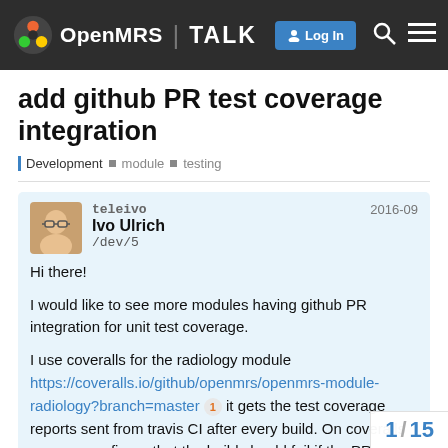OpenMRS | TALK — Log In
add github PR test coverage integration
Development  module  testing
teleivo
Ivo Ulrich
/dev/5
2016-09
Hi there!

I would like to see more modules having github PR integration for unit test coverage.

I use coveralls for the radiology module https://coveralls.io/github/openmrs/openmrs-module-radiology?branch=master 1 it gets the test coverage reports sent from travis CI after every build. On coveralls you can configure that the build should fail if the PR coverage by x percent. This makes it clear